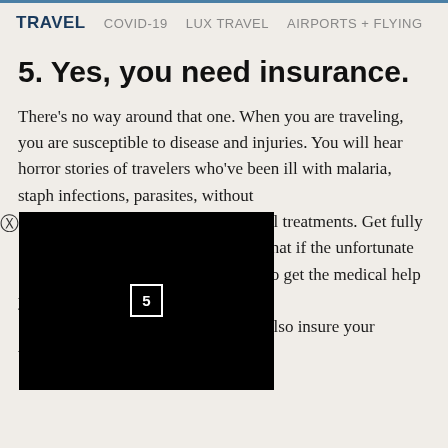TRAVEL  COVID-19  LUX TRAVEL  AIRPORTS + FLYING
5. Yes, you need insurance.
There’s no way around that one. When you are traveling, you are susceptible to disease and injuries. You will hear horror stories of travelers who’ve been ill with malaria, staph infections, parasites, without …al treatments. Get fully …that if the unfortunate …to get the medical help you …also insure your valuables.
[Figure (other): Black video player overlay with number 5 in a white rectangle, partially obscuring the body text. A close (X) button appears to the left.]